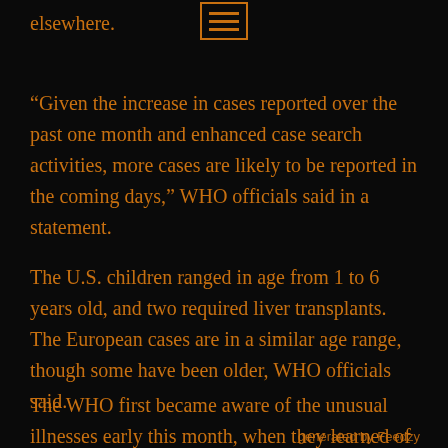elsewhere.
“Given the increase in cases reported over the past one month and enhanced case search activities, more cases are likely to be reported in the coming days,” WHO officials said in a statement.
The U.S. children ranged in age from 1 to 6 years old, and two required liver transplants. The European cases are in a similar age range, though some have been older, WHO officials said.
The WHO first became aware of the unusual illnesses early this month, when they learned of 10 children in Scotland with liver problems. One got sick in January,